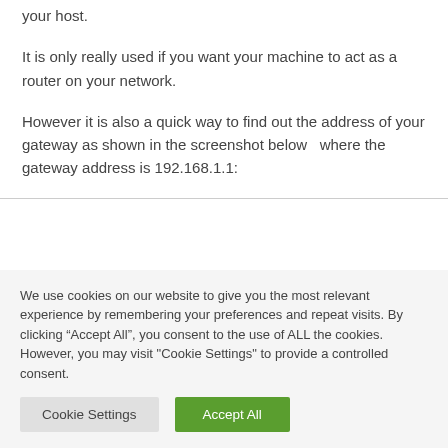your host.
It is only really used if you want your machine to act as a router on your network.
However it is also a quick way to find out the address of your gateway as shown in the screenshot below   where the gateway address is 192.168.1.1:
We use cookies on our website to give you the most relevant experience by remembering your preferences and repeat visits. By clicking “Accept All”, you consent to the use of ALL the cookies. However, you may visit "Cookie Settings" to provide a controlled consent.